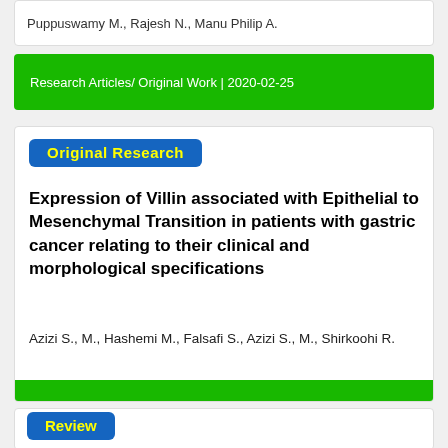Puppuswamy M., Rajesh N., Manu Philip A.
Research Articles/ Original Work | 2020-02-25
Original  Research
Expression of Villin associated with Epithelial to Mesenchymal Transition in patients with gastric cancer relating to their clinical and morphological specifications
Azizi S., M., Hashemi M., Falsafi S., Azizi S., M., Shirkoohi R.
Research Articles/ Original Work | 2020-02-25
Review